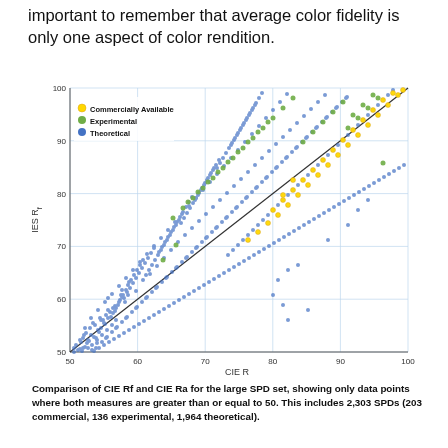important to remember that average color fidelity is only one aspect of color rendition.
[Figure (continuous-plot): Scatter plot comparing CIE Ra (x-axis, 50-100) vs IES Rf (y-axis, 50-100) for three categories of light sources: Commercially Available (yellow dots), Experimental (green dots), and Theoretical (blue dots). A diagonal reference line runs from (50,50) to (100,100). The data shows a positive correlation with spread around the diagonal line.]
Comparison of CIE Rf and CIE Ra for the large SPD set, showing only data points where both measures are greater than or equal to 50. This includes 2,303 SPDs (203 commercial, 136 experimental, 1,964 theoretical).